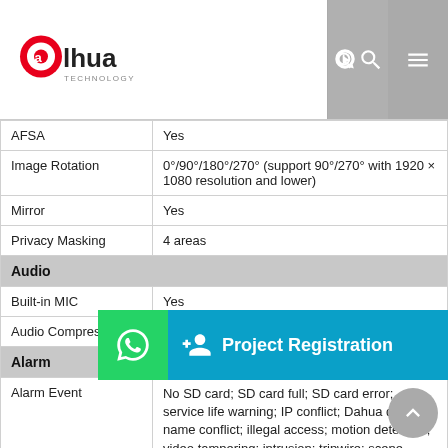[Figure (logo): Dahua Technology logo - red and black stylized 'alhua' with TECHNOLOGY subtitle]
| Feature | Value |
| --- | --- |
| AFSA | Yes |
| Image Rotation | 0°/90°/180°/270° (support 90°/270° with 1920 × 1080 resolution and lower) |
| Mirror | Yes |
| Privacy Masking | 4 areas |
| Audio |  |
| Built-in MIC | Yes |
| Audio Compression | G.711a; G.711Mu; PCM; G.726; G.723 |
| Alarm |  |
| Alarm Event | No SD card; SD card full; SD card error; service life warning; IP conflict; Dahua domain name conflict; illegal access; motion detection; video tampering; intrusion; tripwire; scene changing; audio detection; voltage detection; defocus detection; SMD; safety exception |
| Network |  |
| Network Port | RJ-45 (10/100 Base-T) |